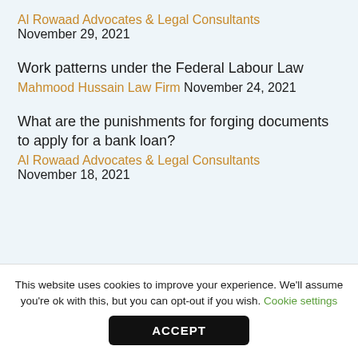Al Rowaad Advocates & Legal Consultants
November 29, 2021
Work patterns under the Federal Labour Law
Mahmood Hussain Law Firm November 24, 2021
What are the punishments for forging documents to apply for a bank loan?
Al Rowaad Advocates & Legal Consultants
November 18, 2021
This website uses cookies to improve your experience. We'll assume you're ok with this, but you can opt-out if you wish. Cookie settings
ACCEPT